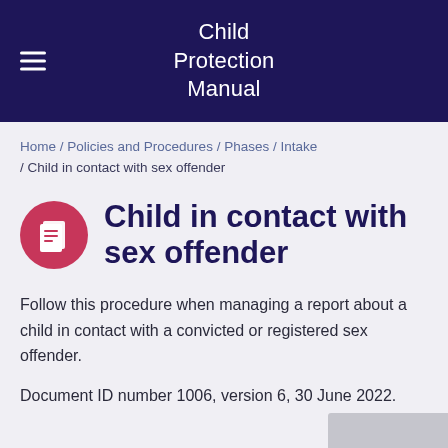Child Protection Manual
Home / Policies and Procedures / Phases / Intake / Child in contact with sex offender
Child in contact with sex offender
Follow this procedure when managing a report about a child in contact with a convicted or registered sex offender.
Document ID number 1006, version 6, 30 June 2022.